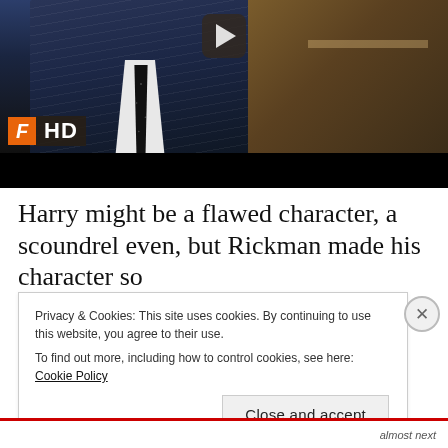[Figure (screenshot): Video thumbnail showing a man in a pinstripe suit with a dark polka-dot tie, a Film4 HD logo overlay in the lower-left corner, and a play button at the top center. The background shows what appears to be an upscale interior setting.]
Harry might be a flawed character, a scoundrel even, but Rickman made his character so
Privacy & Cookies: This site uses cookies. By continuing to use this website, you agree to their use.
To find out more, including how to control cookies, see here: Cookie Policy
Close and accept